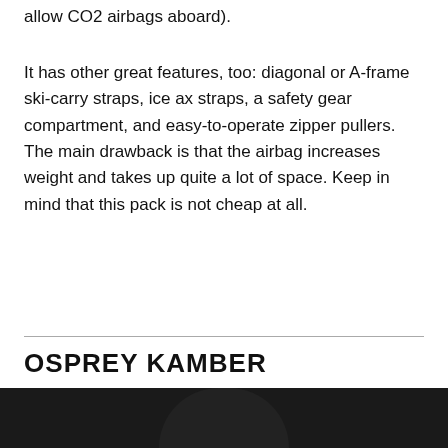allow CO2 airbags aboard).
It has other great features, too: diagonal or A-frame ski-carry straps, ice ax straps, a safety gear compartment, and easy-to-operate zipper pullers. The main drawback is that the airbag increases weight and takes up quite a lot of space. Keep in mind that this pack is not cheap at all.
OSPREY KAMBER
[Figure (photo): Dark background with partial rounded shape visible at bottom of page, likely a helmet or backpack product photo]